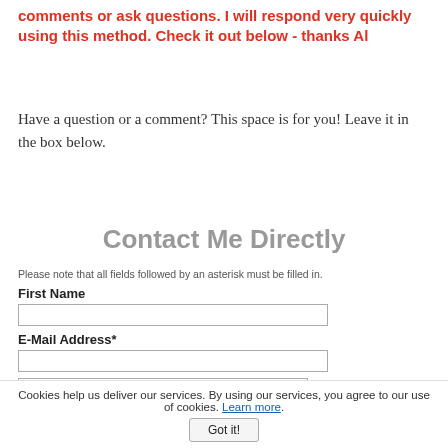comments or ask questions. I will respond very quickly using this method. Check it out below - thanks Al
Have a question or a comment? This space is for you! Leave it in the box below.
Contact Me Directly
Please note that all fields followed by an asterisk must be filled in.
First Name
E-Mail Address*
Cookies help us deliver our services. By using our services, you agree to our use of cookies. Learn more. Got it!